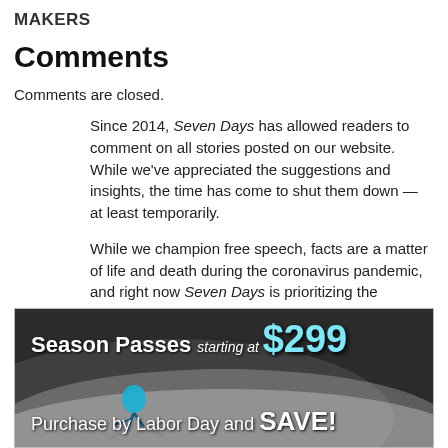MAKERS
Comments
Comments are closed.
Since 2014, Seven Days has allowed readers to comment on all stories posted on our website. While we've appreciated the suggestions and insights, the time has come to shut them down — at least temporarily.
While we champion free speech, facts are a matter of life and death during the coronavirus pandemic, and right now Seven Days is prioritizing the production of responsible journalism over moderating online debates between readers.
[Figure (infographic): Advertisement banner for ski season passes starting at $299, with a skier image and text 'Purchase by Labor Day and SAVE!']